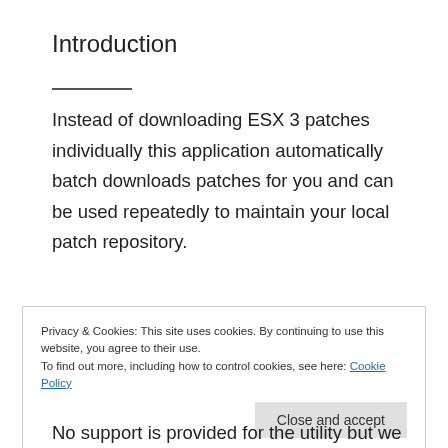Introduction
Instead of downloading ESX 3 patches individually this application automatically batch downloads patches for you and can be used repeatedly to maintain your local patch repository.
Privacy & Cookies: This site uses cookies. By continuing to use this website, you agree to their use.
To find out more, including how to control cookies, see here: Cookie Policy
Close and accept
No support is provided for the utility but we